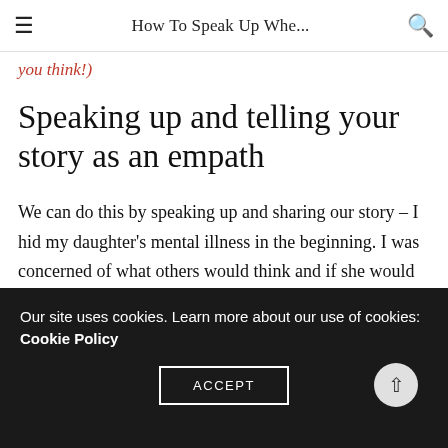How To Speak Up Whe...
you think!)
Speaking up and telling your story as an empath
We can do this by speaking up and sharing our story – I hid my daughter's mental illness in the beginning. I was concerned of what others would think and if she would be accepted. By not being open, I was telling Ellie I didn't accept her, and I played into the stigma. When I shared our story openly with people in conversation, it
Our site uses cookies. Learn more about our use of cookies: Cookie Policy
ACCEPT